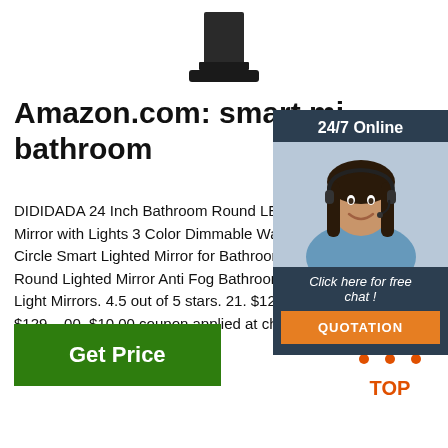[Figure (photo): Product image of a black bathroom mirror/fixture on white background, partially visible at top of page]
Amazon.com: smart mi... bathroom
DIDIDADA 24 Inch Bathroom Round LED Mirror with Lights 3 Color Dimmable Wal... Circle Smart Lighted Mirror for Bathroom... Round Lighted Mirror Anti Fog Bathroom... Light Mirrors. 4.5 out of 5 stars. 21. $129... $129. . 00. $10.00 coupon applied at che... Save $10.00 with coupon.
[Figure (photo): Chat widget overlay: dark background with '24/7 Online' header, photo of smiling woman with headset, 'Click here for free chat!' text, and orange QUOTATION button]
Get Price
[Figure (logo): TOP logo with orange triangle/dots design at bottom right]